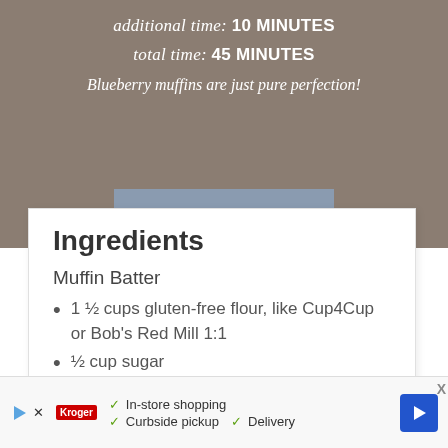additional time: 10 MINUTES
total time: 45 MINUTES
Blueberry muffins are just pure perfection!
Ingredients
Muffin Batter
1 ½ cups gluten-free flour, like Cup4Cup or Bob's Red Mill 1:1
½ cup sugar
½ teaspoon salt